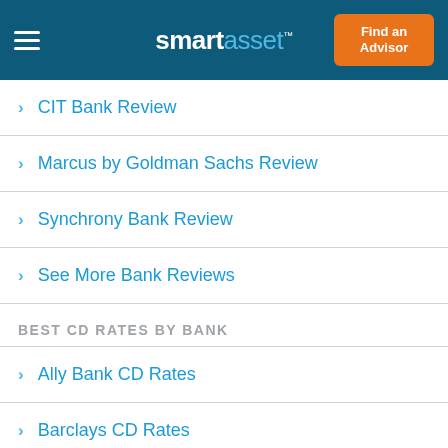smartasset™ | Find an Advisor
CIT Bank Review
Marcus by Goldman Sachs Review
Synchrony Bank Review
See More Bank Reviews
BEST CD RATES BY BANK
Ally Bank CD Rates
Barclays CD Rates
Capital One CD Rates
Marcus by Goldman Sachs CD Rates
TIAA Bank CD Rates